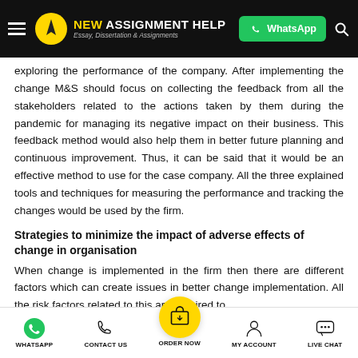NEW ASSIGNMENT HELP — Essay, Dissertation & Assignments | WhatsApp
exploring the performance of the company. After implementing the change M&S should focus on collecting the feedback from all the stakeholders related to the actions taken by them during the pandemic for managing its negative impact on their business. This feedback method would also help them in better future planning and continuous improvement. Thus, it can be said that it would be an effective method to use for the case company. All the three explained tools and techniques for measuring the performance and tracking the changes would be used by the firm.
Strategies to minimize the impact of adverse effects of change in organisation
When change is implemented in the firm then there are different factors which can create issues in better change implementation. All the risk factors related to this are required to
WHATSAPP   CONTACT US   ORDER NOW   MY ACCOUNT   LIVE CHAT